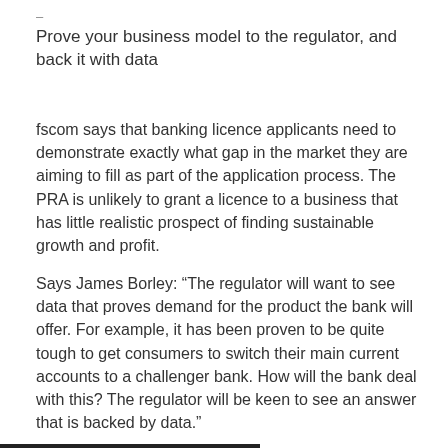Prove your business model to the regulator, and back it with data
fscom says that banking licence applicants need to demonstrate exactly what gap in the market they are aiming to fill as part of the application process. The PRA is unlikely to grant a licence to a business that has little realistic prospect of finding sustainable growth and profit.
Says James Borley: “The regulator will want to see data that proves demand for the product the bank will offer. For example, it has been proven to be quite tough to get consumers to switch their main current accounts to a challenger bank. How will the bank deal with this? The regulator will be keen to see an answer that is backed by data.”